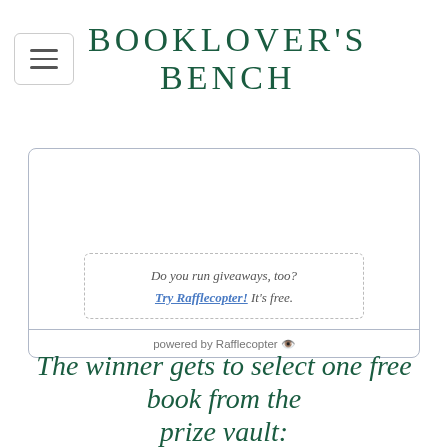BOOKLOVER'S BENCH
[Figure (screenshot): Rafflecopter giveaway widget embedded in a web page. Contains a dashed-border box with italic text 'Do you run giveaways, too? Try Rafflecopter! It's free.' and a footer bar reading 'powered by Rafflecopter' with a small icon.]
The winner gets to select one free book from the prize vault: